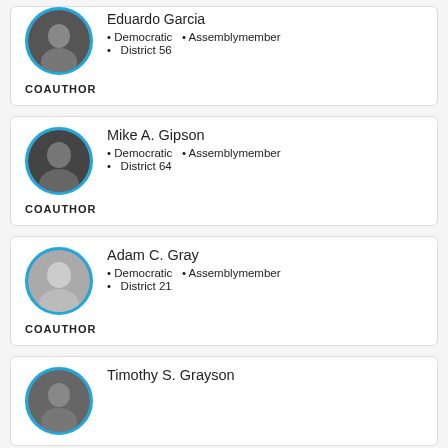Eduardo Garcia
Democratic  •  Assemblymember
District 56
COAUTHOR
Mike A. Gipson
Democratic  •  Assemblymember
District 64
COAUTHOR
Adam C. Gray
Democratic  •  Assemblymember
District 21
COAUTHOR
Timothy S. Grayson